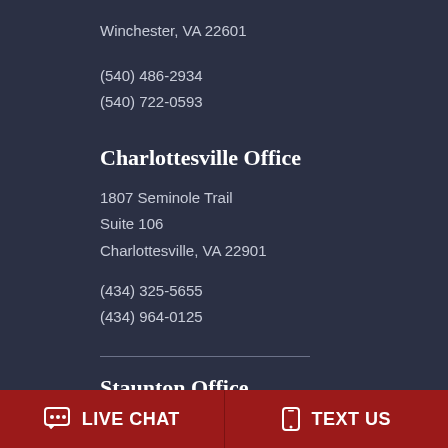Winchester, VA 22601
(540) 486-2934
(540) 722-0593
Charlottesville Office
1807 Seminole Trail
Suite 106
Charlottesville, VA 22901
(434) 325-5655
(434) 964-0125
Staunton Office
17 Imperial Drive
LIVE CHAT
TEXT US